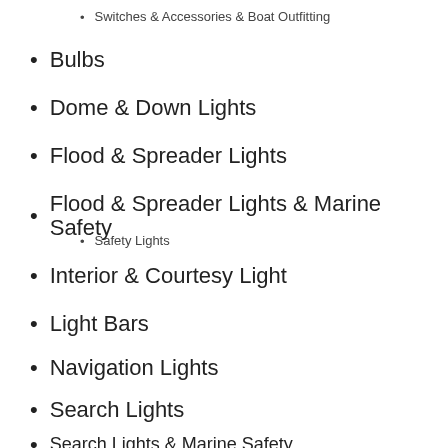Switches & Accessories & Boat Outfitting
Bulbs
Dome & Down Lights
Flood & Spreader Lights
Flood & Spreader Lights & Marine Safety
Safety Lights
Interior & Courtesy Light
Light Bars
Navigation Lights
Search Lights
Search Lights & Marine Safety